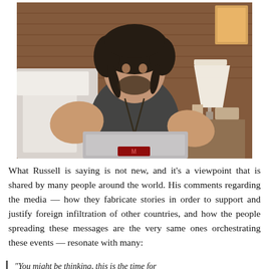[Figure (screenshot): A man with curly dark hair and a beard sits in front of a laptop in a room with a brick wall background. He is wearing a dark sleeveless top with a necklace. A lamp and nightstand are visible on the right. The image appears to be a video screenshot.]
What Russell is saying is not new, and it's a viewpoint that is shared by many people around the world. His comments regarding the media — how they fabricate stories in order to support and justify foreign infiltration of other countries, and how the people spreading these messages are the very same ones orchestrating these events — resonate with many:
"You might be thinking, this is the time for